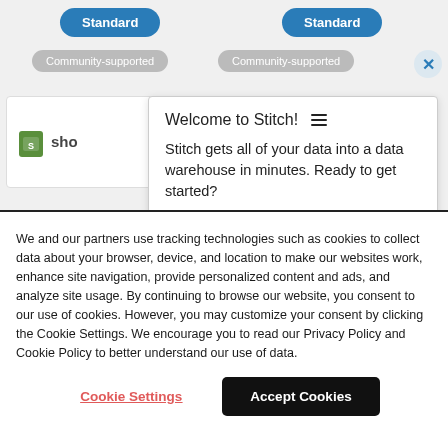[Figure (screenshot): Background UI showing two 'Standard' blue pill buttons and two 'Community-supported' gray badges, with a close X button, partially visible card panels, a Shopify logo, and a 'Welcome to Stitch!' popup with hamburger icon and descriptive text.]
We and our partners use tracking technologies such as cookies to collect data about your browser, device, and location to make our websites work, enhance site navigation, provide personalized content and ads, and analyze site usage. By continuing to browse our website, you consent to our use of cookies. However, you may customize your consent by clicking the Cookie Settings. We encourage you to read our Privacy Policy and Cookie Policy to better understand our use of data.
Cookie Settings
Accept Cookies